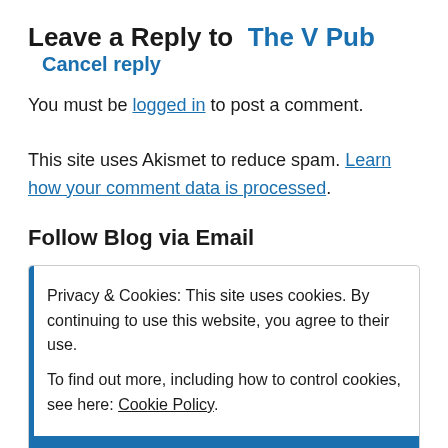Leave a Reply to  The V Pub  Cancel reply
You must be logged in to post a comment.
This site uses Akismet to reduce spam. Learn how your comment data is processed.
Follow Blog via Email
Privacy & Cookies: This site uses cookies. By continuing to use this website, you agree to their use.
To find out more, including how to control cookies, see here: Cookie Policy
Close and accept
Recent Posts